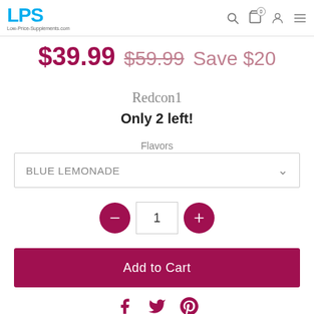LPS Low-Price-Supplements.com
$39.99  $59.99  Save $20
Redcon1
Only 2 left!
Flavors
BLUE LEMONADE
1
Add to Cart
[Figure (other): Social media icons: Facebook, Twitter, Pinterest]